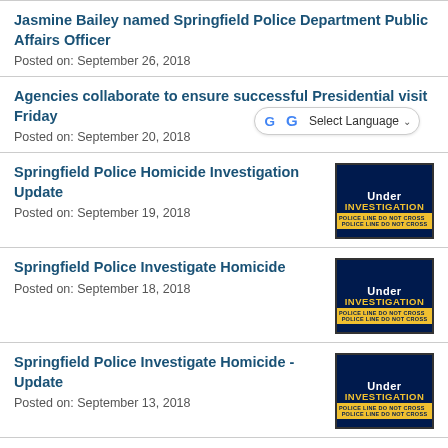Jasmine Bailey named Springfield Police Department Public Affairs Officer
Posted on: September 26, 2018
Agencies collaborate to ensure successful Presidential visit Friday
Posted on: September 20, 2018
[Figure (screenshot): Google Translate Select Language dropdown widget]
Springfield Police Homicide Investigation Update
Posted on: September 19, 2018
[Figure (illustration): Under Investigation thumbnail with police tape]
Springfield Police Investigate Homicide
Posted on: September 18, 2018
[Figure (illustration): Under Investigation thumbnail with police tape]
Springfield Police Investigate Homicide - Update
Posted on: September 13, 2018
[Figure (illustration): Under Investigation thumbnail with police tape]